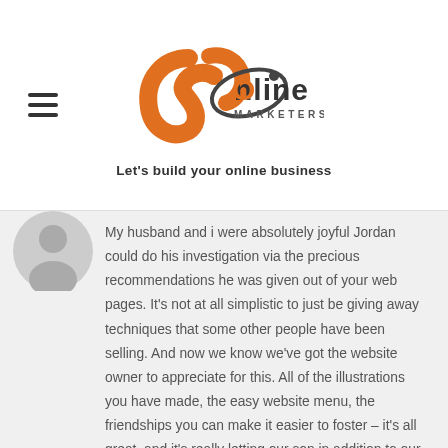[Figure (logo): JR Online Marketers logo with orange and grey swoosh mark, text 'Online MARKETERS' and tagline 'Let's build your online business']
[Figure (illustration): Grey silhouette avatar icon of a person]
My husband and i were absolutely joyful Jordan could do his investigation via the precious recommendations he was given out of your web pages. It's not at all simplistic to just be giving away techniques that some other people have been selling. And now we know we've got the website owner to appreciate for this. All of the illustrations you have made, the easy website menu, the friendships you can make it easier to foster – it's all great, and it's really letting our son in addition to our family imagine that the article is